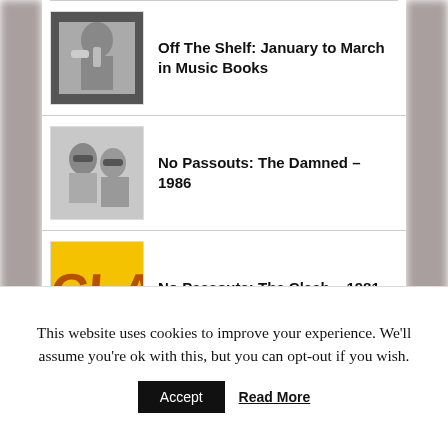Off The Shelf: January to March in Music Books
No Passouts: The Damned – 1986
No Passouts: The Clash – 1981
Buzzcocks anniversary editions planned
This website uses cookies to improve your experience. We'll assume you're ok with this, but you can opt-out if you wish.